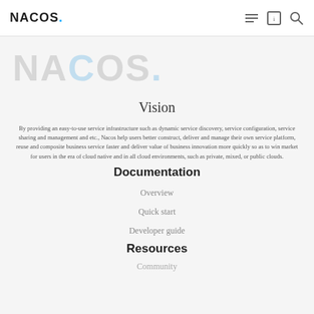NACOS.
[Figure (logo): Large watermark NACOS. logo in faded gray]
Vision
By providing an easy-to-use service infrastructure such as dynamic service discovery, service configuration, service sharing and management and etc., Nacos help users better construct, deliver and manage their own service platform, reuse and composite business service faster and deliver value of business innovation more quickly so as to win market for users in the era of cloud native and in all cloud environments, such as private, mixed, or public clouds.
Documentation
Overview
Quick start
Developer guide
Resources
Community